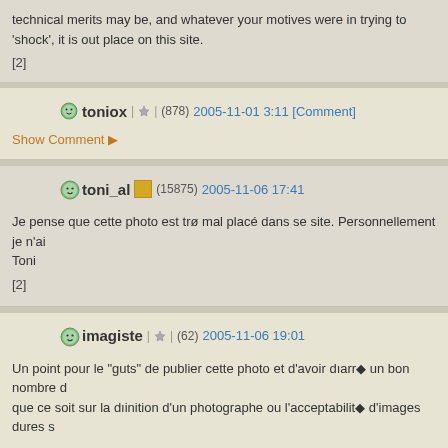technical merits may be, and whatever your motives were in trying to 'shock', it is out place on this site.
[2]
toniox | * | (878) 2005-11-01 3:11 [Comment]
Show Comment ▶
toni_al (15875) 2005-11-06 17:41
Je pense que cette photo est tr⁰ mal plac⁰ dans se site. Personnellement je n'ai Toni
[2]
imagiste | * | (62) 2005-11-06 19:01
Un point pour le "guts" de publier cette photo et d'avoir d⁰arr⁰ un bon nombre d que ce soit sur la d⁰inition d'un photographe ou l'acceptabilit⁰ d'images dures s
Sans doute la pr⁰ence d'un seul ⁰⁰⁰ent suppl⁰entaire pertinent ⁰ ton sujet, m⁰e e aurait permis une lecture au deuxi⁰e degr⁰, assur⁰ une composition moins... d certaines critiques en ta faveur parce qu'on se serait plus attard⁰ au message pouvoirs de la photographie que de donner une forme supportable ⁰ un conter forme" - l'art, dit-on... - facilite la prise de conscience et l'acceptation du sujet.